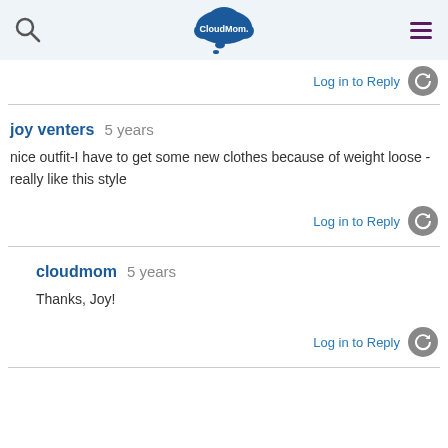CloudMom
Log in to Reply
joy venters   5 years
nice outfit-I have to get some new clothes because of weight loose - really like this style
Log in to Reply
cloudmom   5 years
Thanks, Joy!
Log in to Reply